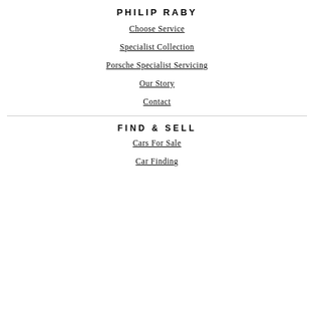PHILIP RABY
Choose Service
Specialist Collection
Porsche Specialist Servicing
Our Story
Contact
FIND & SELL
Cars For Sale
Car Finding